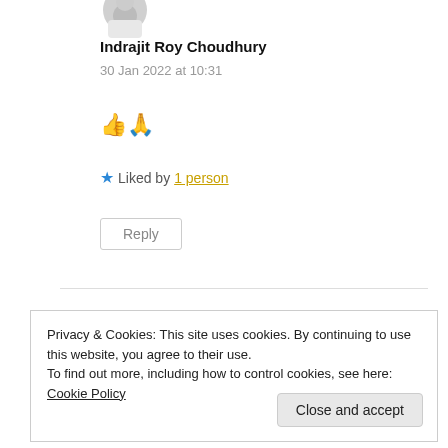[Figure (photo): Circular avatar/profile photo of a person in white clothing, partially visible at top]
Indrajit Roy Choudhury
30 Jan 2022 at 10:31
👍🙏
★ Liked by 1 person
Reply
Privacy & Cookies: This site uses cookies. By continuing to use this website, you agree to their use.
To find out more, including how to control cookies, see here: Cookie Policy
Close and accept